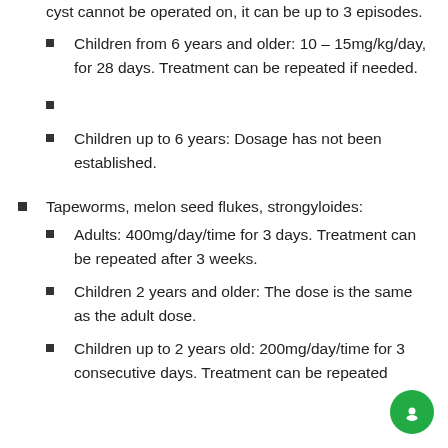cyst cannot be operated on, it can be up to 3 episodes.
Children from 6 years and older: 10 – 15mg/kg/day, for 28 days. Treatment can be repeated if needed.
Children up to 6 years: Dosage has not been established.
Tapeworms, melon seed flukes, strongyloides:
Adults: 400mg/day/time for 3 days. Treatment can be repeated after 3 weeks.
Children 2 years and older: The dose is the same as the adult dose.
Children up to 2 years old: 200mg/day/time for 3 consecutive days. Treatment can be repeated